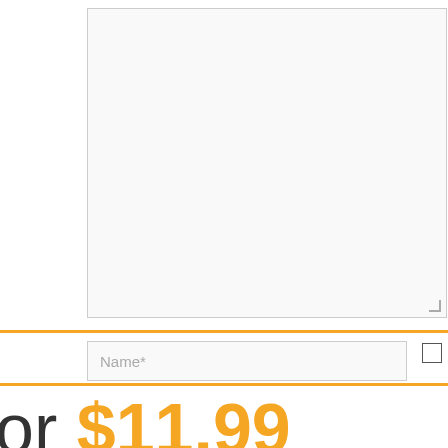[Figure (screenshot): A textarea input field (comment box) with a light gray background and a resize handle in the bottom-right corner]
Name*
Save my name, email
or $11.99
6 Connector Pass